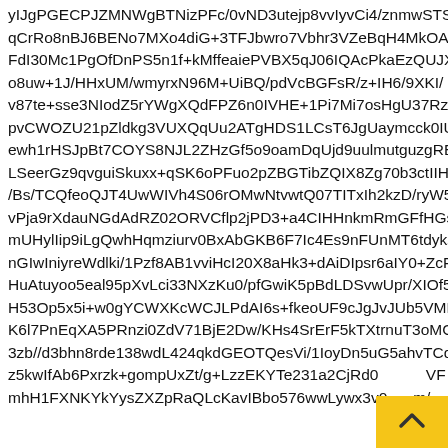yIJgPGECPJZMNWgBTNizPFc/0vND3utejp8vvIyvCi4/znmwSTS qCrRo8nBJ6BENo7MXo4diG+3TFJbwro7Vbhr3VZeBqH4MkOAa FdI30Mc1PgOfDnPS5n1f+kMffeaiePVBX5qJ06IQAcPkaEzQUJX o8uw+1J/HHxUM/wmyrxN96M+UiBQ/pdVcBGFsR/z+IH6/9XKI/ v87te+sse3NIodZ5rYWgXQdFPZ6n0IVHE+1Pi7Mi7osHgU37Rzx pvCWOZU21pZldkg3VUXQqUu2ATgHDS1LCsT6JgUaymcck0IU ewh1rHSJpBt7COYS8NJL2ZHzGf5o9oamDqUjd9uulmutguzgRE LSeerGz9qvguiSkuxx+qSK6oPFuo2pZBGTibZQIX8Zg70b3ctIIHd /Bs/TCQfeoQJT4UwWIVh4S06rOMwNtvwtQ07TITxIh2kzD/ryW5 vPja9rXdauNGdAdRZ02ORVCflp2jPD3+a4CIHHnkmRmGFfHGsS mUHylIip9iLgQwhHqmziurv0BxAbGKB6F7Ic4Es9nFUnMT6tdyks nGIwIniyreWdlki/1Pzf8AB1vviHcI20X8aHk3+dAiDIpsr6aIY0+ZcF HuAtuyoo5eal95pXvLci33NXzKu0/pfGwiK5pBdLDSvwUpr/XIOf5 H53Op5x5i+w0gYCWXKcWCJLPdAI6s+fkeoUF9cJgJvJUb5VMH K6l7PnEqXA5PRnzi0ZdV71BjE2Dw/KHs4SrErF5kTXtrnuT3oMC 3zb//d3bhn8rde138wdL424qkdGEOTQesVi/1IoyDn5uG5ahvTCq z5kwIfAb6Pxrzk+gompUxZt/g+LzzEKYTe231a2CjRd0mVF mhH1FXNKYkYysZXZpRaQLcKavIBbo576wwLywx3v0m/ f0B4VLqKBkWy1L/MxqemYQ+fOz3WBldgimNi1rUuF5IwdzIOP/5 ufd7oYGc2Zk5W9qHXAypcy24c58r5e+fV+MyZzeQSNXPj/4DAX
[Figure (other): Yellow scroll-to-top button with upward chevron arrow icon, positioned at bottom-right corner of the page]